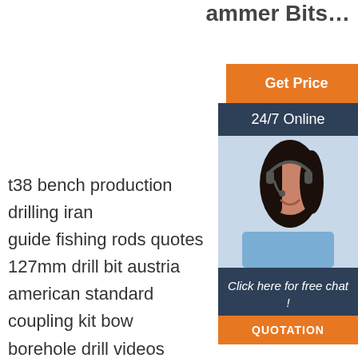ammer Bits…
[Figure (infographic): Sidebar with Get Price button, 24/7 Online label, customer service agent photo, Click here for free chat text, and QUOTATION button]
t38 bench production drilling iran
guide fishing rods quotes
127mm drill bit austria
american standard coupling kit bow
borehole drill videos usage
guide rod glock 17 gen 4
thread drill button bit
belly button bit importers
ecw guide rod price
hammer drill rock bits usage
[Figure (infographic): TOP icon with orange dot pattern triangle and TOP text]